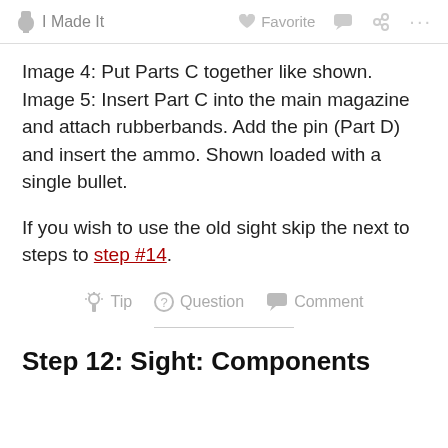I Made It   Favorite   Comment   Share   ...
Image 4: Put Parts C together like shown.
Image 5: Insert Part C into the main magazine and attach rubberbands. Add the pin (Part D) and insert the ammo. Shown loaded with a single bullet.
If you wish to use the old sight skip the next to steps to step #14.
Step 12: Sight: Components